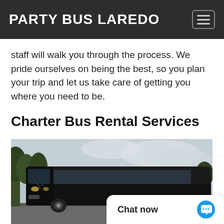PARTY BUS LAREDO
staff will walk you through the process. We pride ourselves on being the best, so you plan your trip and let us take care of getting you where you need to be.
Charter Bus Rental Services
[Figure (photo): A large black charter bus parked in a lot with trees in the background on a cloudy day.]
Chat now